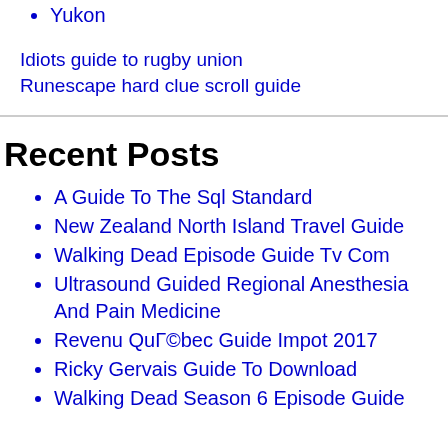Yukon
Idiots guide to rugby union
Runescape hard clue scroll guide
Recent Posts
A Guide To The Sql Standard
New Zealand North Island Travel Guide
Walking Dead Episode Guide Tv Com
Ultrasound Guided Regional Anesthesia And Pain Medicine
Revenu QuГ©bec Guide Impot 2017
Ricky Gervais Guide To Download
Walking Dead Season 6 Episode Guide